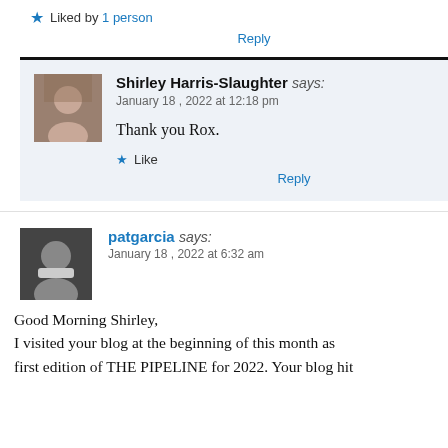★ Liked by 1 person
Reply
Shirley Harris-Slaughter says: January 18, 2022 at 12:18 pm
Thank you Rox.
Like
Reply
patgarcia says: January 18, 2022 at 6:32 am
Good Morning Shirley, I visited your blog at the beginning of this month as first edition of THE PIPELINE for 2022. Your blog hit